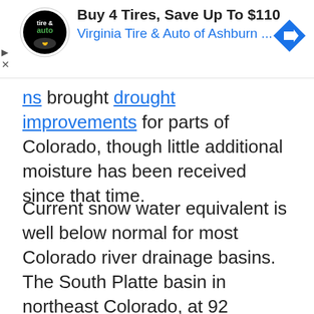[Figure (other): Advertisement banner: Virginia Tire & Auto of Ashburn - Buy 4 Tires, Save Up To $110]
ns brought drought improvements for parts of Colorado, though little additional moisture has been received since that time.
Current snow water equivalent is well below normal for most Colorado river drainage basins. The South Platte basin in northeast Colorado, at 92 percent of normal, is the best in the state, while the San Miguel, Dolores, Animas and San Juan basin in the state's southwest corner has fallen to 61 percent. The adjacent